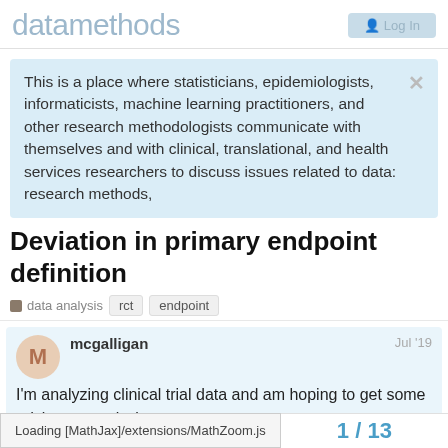datamethods
This is a place where statisticians, epidemiologists, informaticists, machine learning practitioners, and other research methodologists communicate with themselves and with clinical, translational, and health services researchers to discuss issues related to data: research methods,
Deviation in primary endpoint definition
data analysis   rct   endpoint
mcgalligan   Jul '19
I'm analyzing clinical trial data and am hoping to get some advice on analysis sets.
Loading [MathJax]/extensions/MathZoom.js
1 / 13